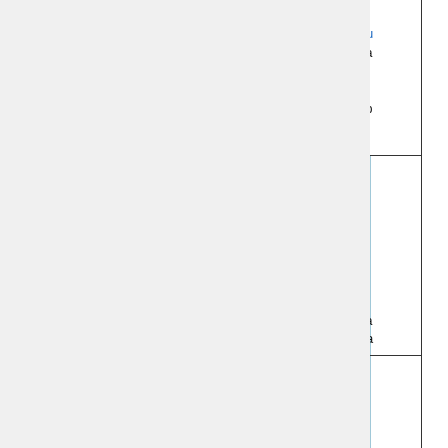| # | Name | Description |
| --- | --- | --- |
|  |  | di
qu
sa
S
n
sp |
| 6 | Input_Opt%ND51_HR_WRITE
Input_Opt%ND51b_HR_WRITE | T
d
h
th
ti
w
to
R
va
ea |
| 7 | Input_Opt%ND51_HR_1
Input_Opt%ND51_HR2
Input_Opt%ND51b_HR_1 | T
a
ti |